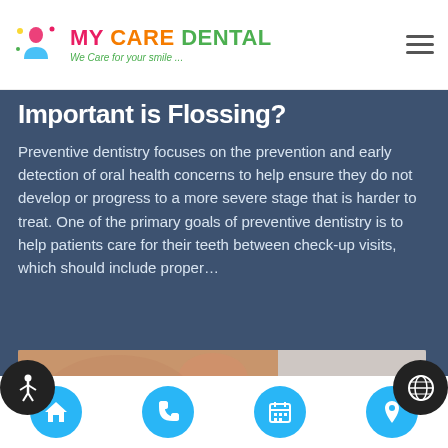MY CARE DENTAL — We Care for your smile...
Important is Flossing?
Preventive dentistry focuses on the prevention and early detection of oral health concerns to help ensure they do not develop or progress to a more severe stage that is harder to treat. One of the primary goals of preventive dentistry is to help patients care for their teeth between check-up visits, which should include proper…
[Figure (photo): Close-up photo of a smiling woman with white teeth holding dental floss near her mouth]
Navigation icons: home, phone, calendar, location